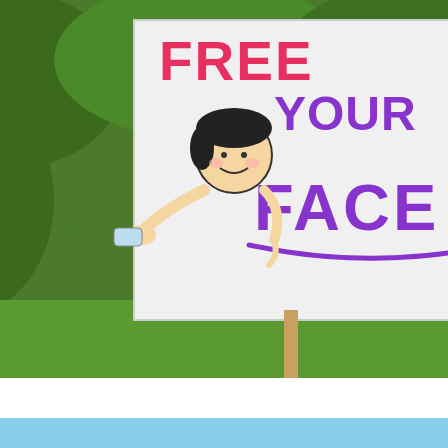[Figure (photo): Protest sign in a park reading 'FREE YOUR FACE' in pink and purple letters with a cartoon drawing of a smiling girl removing a face mask. Another sign partially visible in the background reading 'I CHOOSE MEDICAL FREEDOM'.]
[Figure (photo): Two protest signs in a park. Left sign reads 'I CHOOSE MEDICAL FREEDOM' with flower decorations in colorful letters. Right sign reads 'I CHOOSE NATURAL IMMUNITY' in black and purple letters.]
[Figure (photo): Partial photo of people at what appears to be an outdoor protest or rally, cropped at the bottom of the page.]